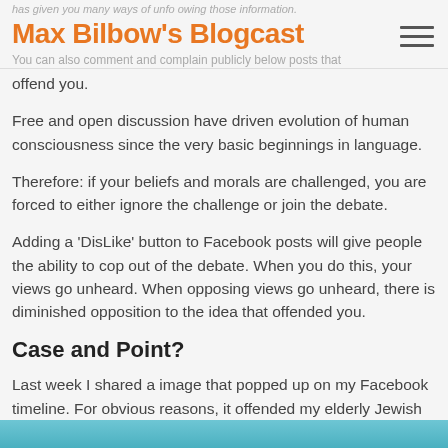Max Bilbow's Blogcast
You can also comment and complain publicly below posts that offend you.
Free and open discussion have driven evolution of human consciousness since the very basic beginnings in language.
Therefore: if your beliefs and morals are challenged, you are forced to either ignore the challenge or join the debate.
Adding a 'DisLike' button to Facebook posts will give people the ability to cop out of the debate. When you do this, your views go unheard. When opposing views go unheard, there is diminished opposition to the idea that offended you.
Case and Point?
Last week I shared a image that popped up on my Facebook timeline. For obvious reasons, it offended my elderly Jewish grandmother. See the following post and discussion:
[Figure (photo): Bottom strip showing the top edge of an image with blue/teal tones]